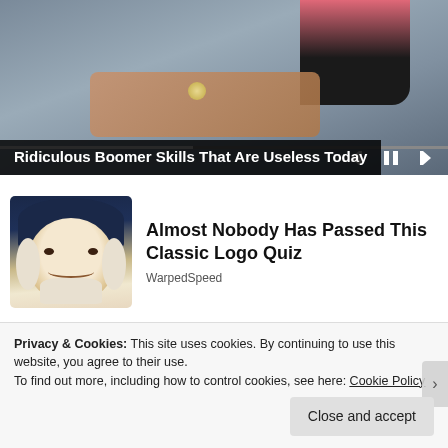[Figure (screenshot): Video player screenshot showing a person in pink and black clothing, with playback controls (previous, pause, next) and a progress bar at the bottom.]
Ridiculous Boomer Skills That Are Useless Today
[Figure (illustration): Illustration of the Quaker Oats mascot — a man with a dark wide-brimmed hat and colonial-era white cravat, smiling.]
Almost Nobody Has Passed This Classic Logo Quiz
WarpedSpeed
Privacy & Cookies: This site uses cookies. By continuing to use this website, you agree to their use.
To find out more, including how to control cookies, see here: Cookie Policy
Close and accept